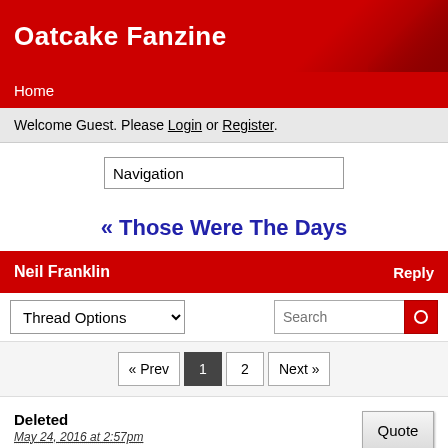Oatcake Fanzine
Home
Welcome Guest. Please Login or Register.
Navigation
« Those Were The Days
Neil Franklin   Reply
Thread Options    Search
« Prev  1  2  Next »
Deleted
May 24, 2016 at 2:57pm
torquaypotter likes this
Quote